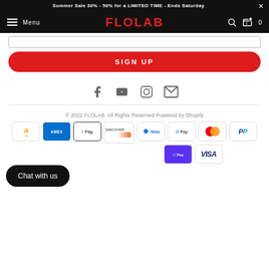Summer Sale 30% - 50% for a LIMITED TIME - Ends Saturday ×
Menu  FLOLAB  🔍 🛒 0
[Figure (screenshot): Email input field (empty, bordered)]
SIGN UP
[Figure (infographic): Social media icons: Facebook, YouTube, Instagram, Email]
© 2022 FLOLAB. All Rights Reserved Powered by Shopify
[Figure (infographic): Payment method badges: Amazon, AMEX, Apple Pay, Discover, Meta, G Pay, Mastercard, PayPal, Shop Pay, VISA]
Chat with us